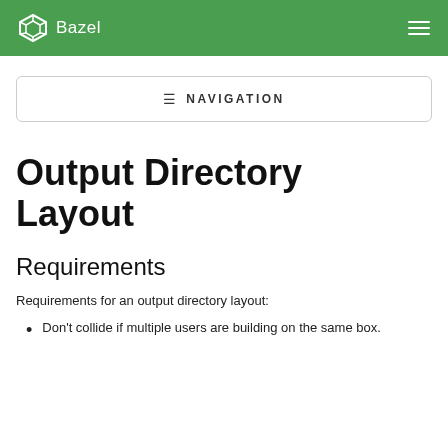Bazel
≡ NAVIGATION
Output Directory Layout
Requirements
Requirements for an output directory layout:
Don't collide if multiple users are building on the same box.